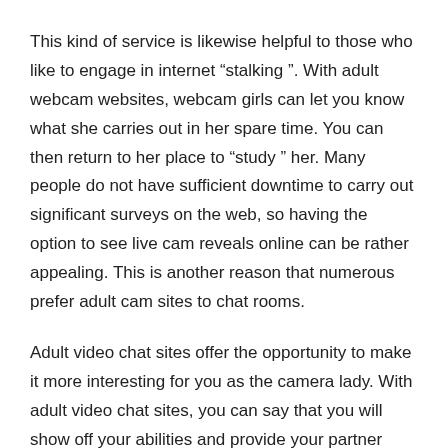This kind of service is likewise helpful to those who like to engage in internet “stalking”. With adult webcam websites, webcam girls can let you know what she carries out in her spare time. You can then return to her place to “study” her. Many people do not have sufficient downtime to carry out significant surveys on the web, so having the option to see live cam reveals online can be rather appealing. This is another reason that numerous prefer adult cam sites to chat rooms.
Adult video chat sites offer the opportunity to make it more interesting for you as the camera lady. With adult video chat sites, you can say that you will show off your abilities and provide your partner exactly what he or she wants. Circumcised Gay Sex Live Cams
One huge advantage of utilizing chat programs or sex shows to improve intimacy is that you can feel more comfortable going to